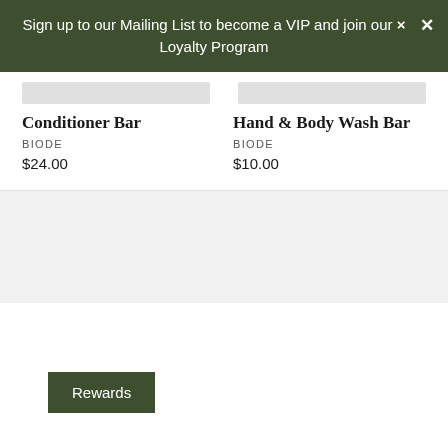Sign up to our Mailing List to become a VIP and join our Loyalty Program
Conditioner Bar
BIODE
$24.00
Hand & Body Wash Bar
BIODE
$10.00
Rewards